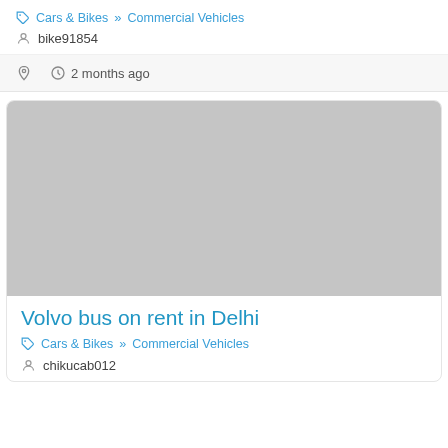Cars & Bikes » Commercial Vehicles
bike91854
2 months ago
[Figure (photo): Gray placeholder image for a vehicle listing]
Volvo bus on rent in Delhi
Cars & Bikes » Commercial Vehicles
chikucab012